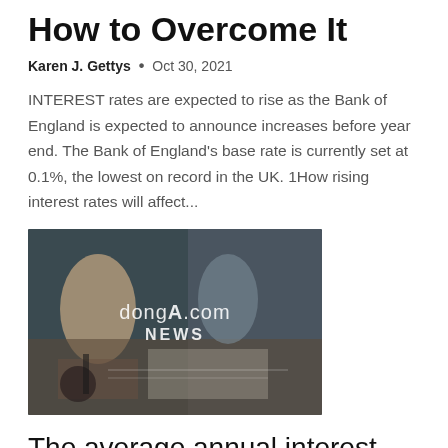How to Overcome It
Karen J. Gettys • Oct 30, 2021
INTEREST rates are expected to rise as the Bank of England is expected to announce increases before year end. The Bank of England's base rate is currently set at 0.1%, the lowest on record in the UK. 1How rising interest rates will affect...
[Figure (photo): People sitting around a table with financial charts and documents, with a dongA.com NEWS watermark overlay]
The average annual interest rate for mortgage loans increases by more than 3%: The